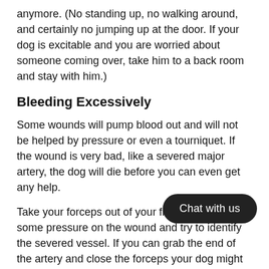anymore. (No standing up, no walking around, and certainly no jumping up at the door. If your dog is excitable and you are worried about someone coming over, take him to a back room and stay with him.)
Bleeding Excessively
Some wounds will pump blood out and will not be helped by pressure or even a tourniquet. If the wound is very bad, like a severed major artery, the dog will die before you can even get any help.
Take your forceps out of your first aid kit and put some pressure on the wound and try to identify the severed vessel. If you can grab the end of the artery and close the forceps your dog might live until the morning so that you can take him to the vet for a transfusion.
There are many other conditions that an emergency vet can help with, but if this is not a possibility, then your dog will most likely survive until the morning.
Fractured Leg
Your dog will be in a lot of pain so you need to keep him